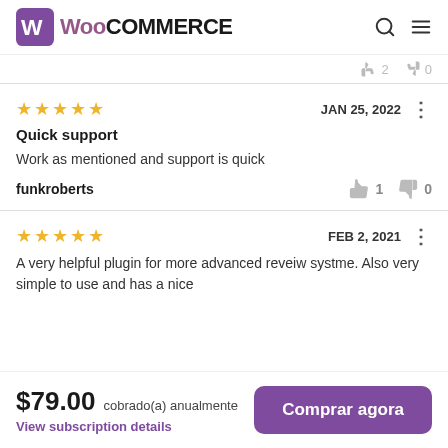WooCommerce
(partial cut-off vote icons row)
Quick support — JAN 25, 2022
Work as mentioned and support is quick
funkroberts — thumbs up: 1, thumbs down: 0
FEB 2, 2021
A very helpful plugin for more advanced reveiw systme. Also very simple to use and has a nice
$79.00 cobrado(a) anualmente — View subscription details — Comprar agora